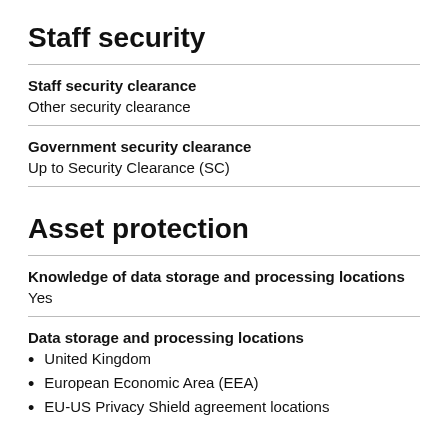Staff security
Staff security clearance
Other security clearance
Government security clearance
Up to Security Clearance (SC)
Asset protection
Knowledge of data storage and processing locations
Yes
Data storage and processing locations
United Kingdom
European Economic Area (EEA)
EU-US Privacy Shield agreement locations